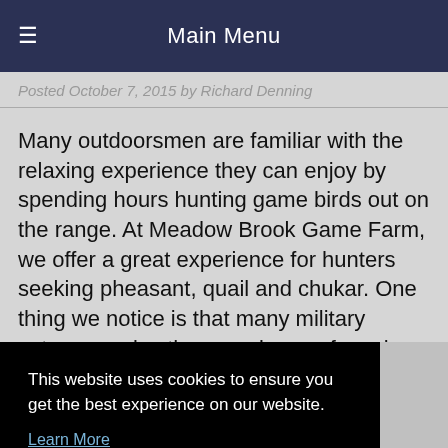≡  Main Menu
Posted October 7, 2015 by Richard Denning
Many outdoorsmen are familiar with the relaxing experience they can enjoy by spending hours hunting game birds out on the range. At Meadow Brook Game Farm, we offer a great experience for hunters seeking pheasant, quail and chukar. One thing we notice is that many military veterans enjoy the experience of a calm day
This website uses cookies to ensure you get the best experience on our website.
Learn More

Got it!